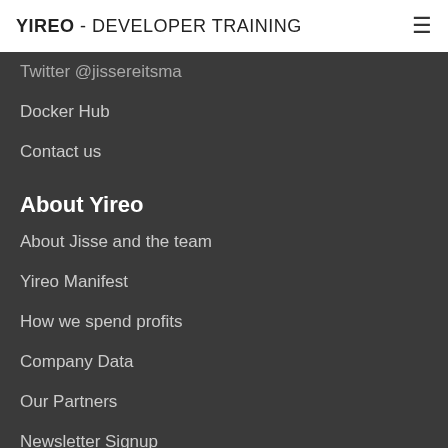YIREO - DEVELOPER TRAINING
Twitter @jissereitsma
Docker Hub
Contact us
About Yireo
About Jisse and the team
Yireo Manifest
How we spend profits
Company Data
Our Partners
Newsletter Signup